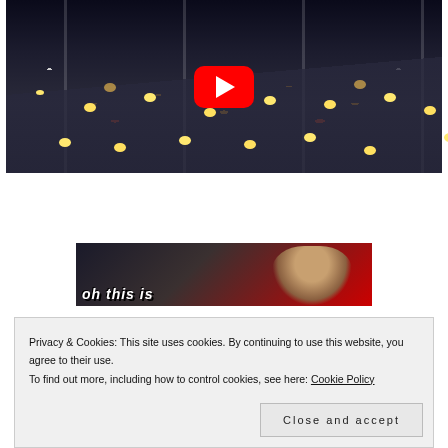[Figure (screenshot): YouTube video thumbnail showing nighttime highway traffic with cars and headlights, with a red YouTube play button in the center]
[Figure (screenshot): Video thumbnail showing a person wearing headphones with subtitle text 'oh this is' overlaid in stylized white italic font against a dark background with red accent]
Privacy & Cookies: This site uses cookies. By continuing to use this website, you agree to their use.
To find out more, including how to control cookies, see here: Cookie Policy
Close and accept